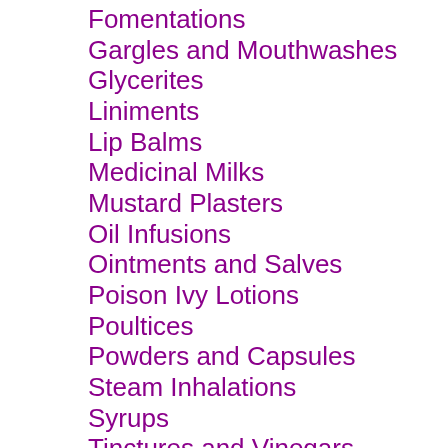Fomentations
Gargles and Mouthwashes
Glycerites
Liniments
Lip Balms
Medicinal Milks
Mustard Plasters
Oil Infusions
Ointments and Salves
Poison Ivy Lotions
Poultices
Powders and Capsules
Steam Inhalations
Syrups
Tinctures and Vinegars
Toothpastes
Vapor Balms